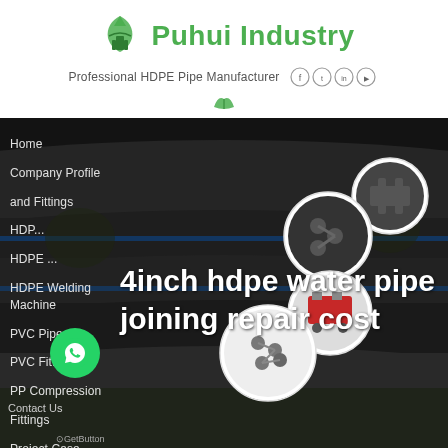[Figure (logo): Puhui Industry logo with green plant/leaf icon and green bold text 'Puhui Industry', with tagline 'Professional HDPE Pipe Manufacturer' and social media icons (Facebook, Twitter, LinkedIn, YouTube)]
[Figure (photo): Large dark background photo of stacked HDPE pipes in a field, with circular inset product photos showing pipe fittings, connectors, and welding machines on the right side]
4inch hdpe water pipe joining repair cost
Home
Company Profile
and Fittings
HDP...
HDPE ...
HDPE Welding Machine
PVC Pipe
PVC Fittings
PP Compression
Fittings
Project Case
Contact Us